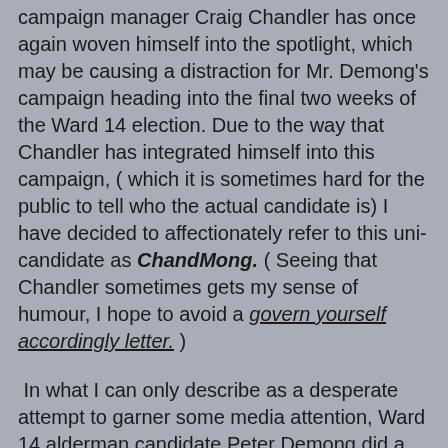campaign manager Craig Chandler has once again woven himself into the spotlight, which may be causing a distraction for Mr. Demong's campaign heading into the final two weeks of the Ward 14 election.  Due to the way that Chandler has integrated himself into this campaign, ( which it is sometimes hard for the public to tell who the actual candidate is) I have decided to affectionately refer to this uni-candidate as ChandMong.  ( Seeing that Chandler sometimes gets my sense of humour, I hope to avoid a govern yourself accordingly letter. )
In what I can only describe as a desperate attempt to garner some media attention, Ward 14 alderman candidate Peter Demong did a strange interview on CBC radio yesterday.  In this interview, Mr. Demong claimed that close to 400 of his campaign lawn signs have "mysteriously" disappeared from both public and private property in the area.  His campaign manager also sent out an email to the other candidates which was shared to the media outlet, in which he attacks competitor Richard Dur's age and "immaturity", leading some to belive that they where potentially hinting that Dur's